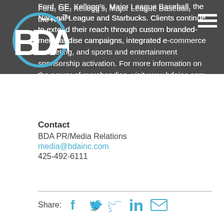[Figure (logo): BDA logo — bold white 'BDA' letters with a circular 'A' outline and TM mark, on dark grey background]
[Figure (other): Hamburger menu icon (three horizontal white lines) in top-right corner]
Ford, GE, Kellogg's, Major League Baseball, the National League and Starbucks. Clients continue to extend their reach through custom branded-merchandise campaigns, integrated e-commerce marketing, and sports and entertainment sponsorship activation. For more information on the power of merchandise, visit www.bdainc.com.
Contact
BDA PR/Media Relations
media@bdainc.com
425-492-6111
Share: